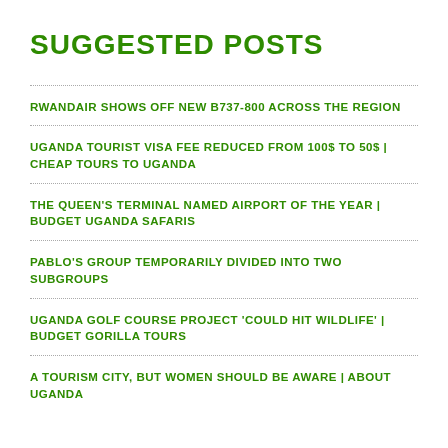SUGGESTED POSTS
RWANDAIR SHOWS OFF NEW B737-800 ACROSS THE REGION
UGANDA TOURIST VISA FEE REDUCED FROM 100$ TO 50$ | CHEAP TOURS TO UGANDA
THE QUEEN'S TERMINAL NAMED AIRPORT OF THE YEAR | BUDGET UGANDA SAFARIS
PABLO'S GROUP TEMPORARILY DIVIDED INTO TWO SUBGROUPS
UGANDA GOLF COURSE PROJECT 'COULD HIT WILDLIFE' | BUDGET GORILLA TOURS
A TOURISM CITY, BUT WOMEN SHOULD BE AWARE | ABOUT UGANDA